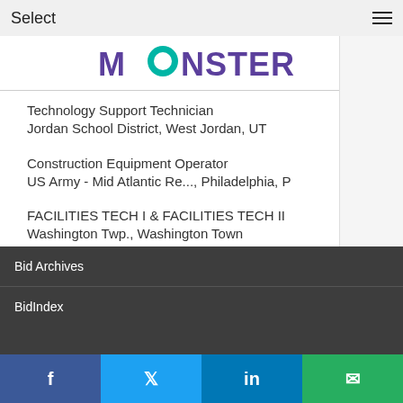Select
[Figure (logo): Monster job board logo with teal circle and purple text]
Technology Support Technician
Jordan School District, West Jordan, UT
Construction Equipment Operator
US Army - Mid Atlantic Re..., Philadelphia, P
FACILITIES TECH I & FACILITIES TECH II
Washington Twp., Washington Town
View More Jobs
Bid Archives
BidIndex